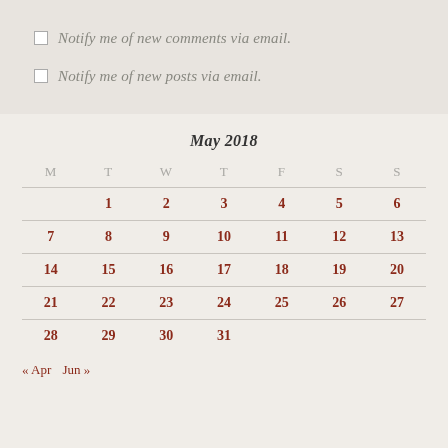Notify me of new comments via email.
Notify me of new posts via email.
| M | T | W | T | F | S | S |
| --- | --- | --- | --- | --- | --- | --- |
|  | 1 | 2 | 3 | 4 | 5 | 6 |
| 7 | 8 | 9 | 10 | 11 | 12 | 13 |
| 14 | 15 | 16 | 17 | 18 | 19 | 20 |
| 21 | 22 | 23 | 24 | 25 | 26 | 27 |
| 28 | 29 | 30 | 31 |  |  |  |
« Apr  Jun »